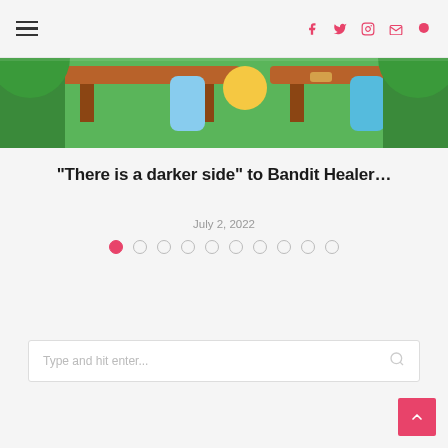Navigation bar with hamburger menu and social icons (Facebook, Twitter, Instagram, Email, Search)
[Figure (illustration): Partial cartoon/anime style illustration showing colorful characters with a green background — top portion of a feature article image]
“There is a darker side” to Bandit Healer…
July 2, 2022
Pagination dots: 10 dots, first dot filled pink, rest empty
Type and hit enter...